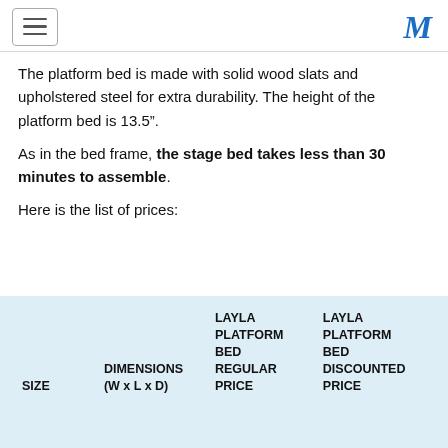≡ M
The platform bed is made with solid wood slats and upholstered steel for extra durability. The height of the platform bed is 13.5".
As in the bed frame, the stage bed takes less than 30 minutes to assemble.
Here is the list of prices:
| SIZE | DIMENSIONS (W x L x D) | LAYLA PLATFORM BED REGULAR PRICE | LAYLA PLATFORM BED DISCOUNTED PRICE |
| --- | --- | --- | --- |